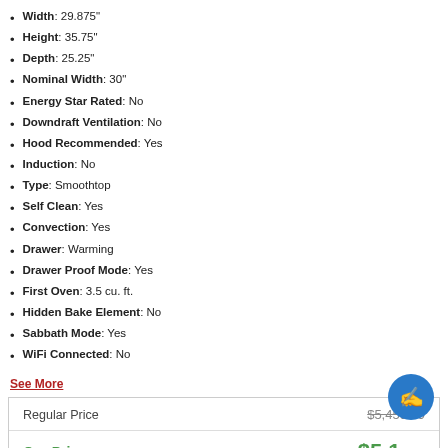Width: 29.875"
Height: 35.75"
Depth: 25.25"
Nominal Width: 30"
Energy Star Rated: No
Downdraft Ventilation: No
Hood Recommended: Yes
Induction: No
Type: Smoothtop
Self Clean: Yes
Convection: Yes
Drawer: Warming
Drawer Proof Mode: Yes
First Oven: 3.5 cu. ft.
Hidden Bake Element: No
Sabbath Mode: Yes
WiFi Connected: No
See More
|  |  |
| --- | --- |
| Regular Price | $5,459.99 |
| Our Price | $5,1__ |
| You Save | $2__.03 |
| Rebate Available | See Details |